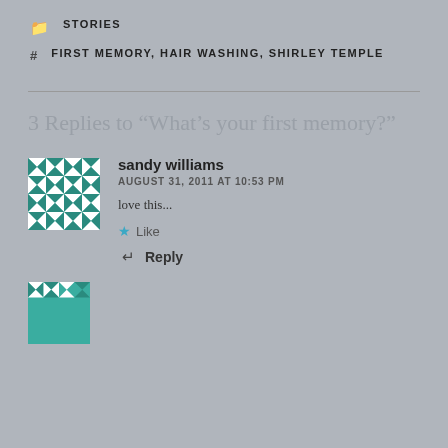STORIES
FIRST MEMORY, HAIR WASHING, SHIRLEY TEMPLE
3 Replies to “What’s your first memory?”
sandy williams
AUGUST 31, 2011 AT 10:53 PM
love this...
Like
Reply